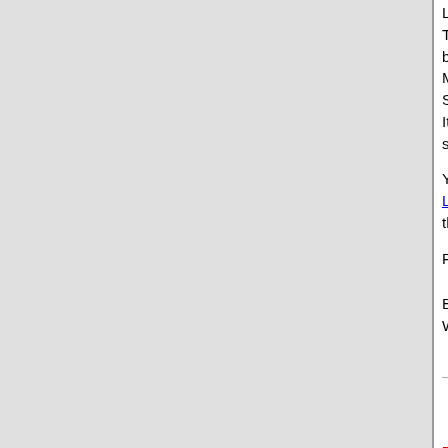Links 2.0.
This means, I also need Link Expirator plug... buy this plugin to have the same functional... My site should be upgraded within 1-2 mon... So should be available within 1-2 month. It is very likely, that even if Pugdog develop... site.
You will see which one will fit better your ne... Link Expirator [by Webmaster33] or Link Ex... then you can choose which one you want t...
Remember, this is not about to compete wi...
Best regards,
Webmaster33
Paid Support from Webmaster33. Expert in Perl prog... Webmaster33's products (upd.2004.09.26) | Private m...